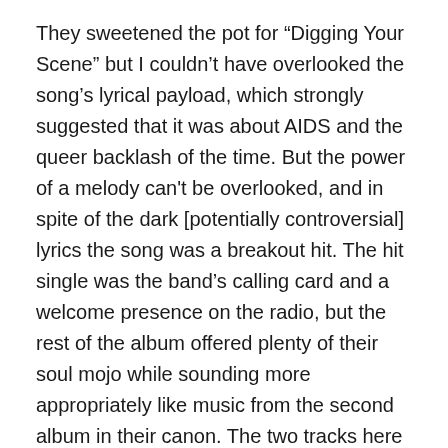They sweetened the pot for “Digging Your Scene” but I couldn’t have overlooked the song’s lyrical payload, which strongly suggested that it was about AIDS and the queer backlash of the time. But the power of a melody can't be overlooked, and in spite of the dark [potentially controversial] lyrics the song was a breakout hit. The hit single was the band’s calling card and a welcome presence on the radio, but the rest of the album offered plenty of their soul mojo while sounding more appropriately like music from the second album in their canon. The two tracks here salted with drum machine replacing the live drums, really made those cuts the outlier to the third Blow Monkeys album; but that’s getting ahead of ourselves.
If anything, “Animal Magic” was a song that was a throwback to the more contrary debut album. The tempo